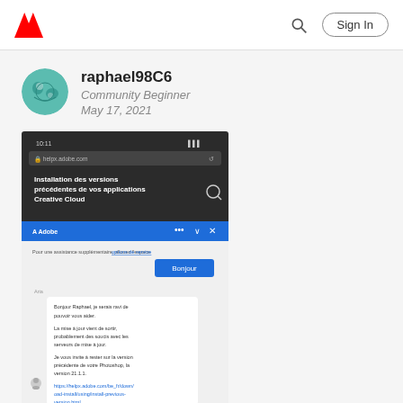Adobe Community - Sign In
raphael98C6
Community Beginner
May 17, 2021
[Figure (screenshot): Mobile screenshot showing Adobe help page 'Installation des versions précédentes de vos applications Creative Cloud' open in a browser, with a chat conversation in French below it. A chat agent named Aria or similar responds in French. A blue 'Bonjour' button is visible. The conversation includes text about rolling back to a previous Photoshop version 21.1.1. At the bottom is an input field and another message partially visible.]